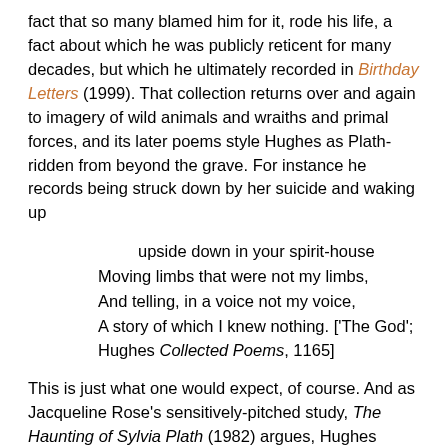fact that so many blamed him for it, rode his life, a fact about which he was publicly reticent for many decades, but which he ultimately recorded in Birthday Letters (1999). That collection returns over and again to imagery of wild animals and wraiths and primal forces, and its later poems style Hughes as Plath-ridden from beyond the grave. For instance he records being struck down by her suicide and waking up
upside down in your spirit-house
Moving limbs that were not my limbs,
And telling, in a voice not my voice,
A story of which I knew nothing. ['The God';
Hughes Collected Poems, 1165]
This is just what one would expect, of course. And as Jacqueline Rose's sensitively-pitched study, The Haunting of Sylvia Plath (1982) argues, Hughes wasn't the only one. In a sense the entire body of Hughes work is haunted, stylistically, thematically, tonally, by that one self-destructive and alter-destructive act of 1963; and the same spectre drifts through most critical discussion of both his and Plath's work. I say so by way of concession, because this blog-post is no